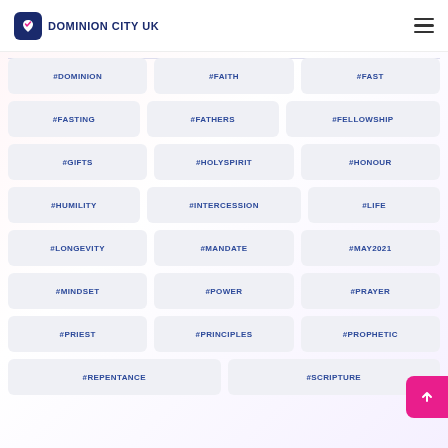DOMINION CITY UK
#DOMINION
#FAITH
#FAST
#FASTING
#FATHERS
#FELLOWSHIP
#GIFTS
#HOLYSPIRIT
#HONOUR
#HUMILITY
#INTERCESSION
#LIFE
#LONGEVITY
#MANDATE
#MAY2021
#MINDSET
#POWER
#PRAYER
#PRIEST
#PRINCIPLES
#PROPHETIC
#REPENTANCE
#SCRIPTURE